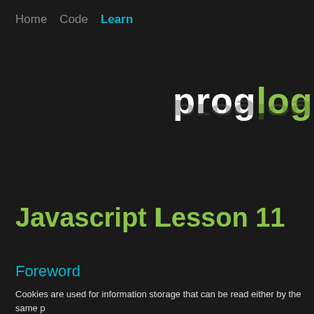Home   Code   Learn
[Figure (logo): proglog website logo with white 'prog' and green 'log' text, with a dark reflection below]
Javascript Lesson 11
Foreword
Cookies are used for information storage that can be read either by the same p other pages on the same site or by servers.
11.1 Cookie Parameters